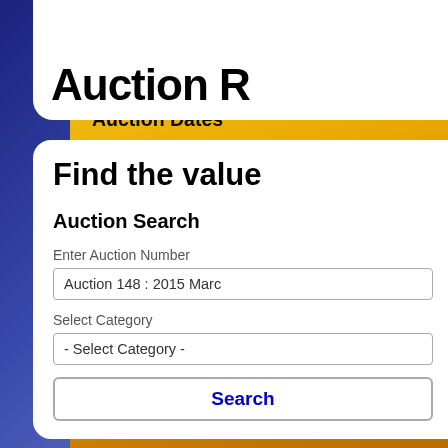How To Sell Your World Banknotes
Highlights : World Banknotes
Auction Dates
Valuations for probate and inheritance
Coin Grading Services UK
Join our catalogue mailing list
Our September auction catalogue is online now
[Figure (photo): London Coins Auction catalogue cover showing coins]
Auction R...
Find the value...
Auction Search
Enter Auction Number
Auction 148 : 2015 Marc...
Select Category
- Select Category -
Search
World Banknotes...
| Date Sold | Category |
| --- | --- |